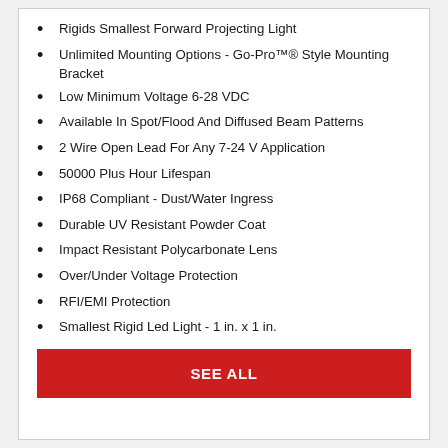Rigids Smallest Forward Projecting Light
Unlimited Mounting Options - Go-Pro™® Style Mounting Bracket
Low Minimum Voltage 6-28 VDC
Available In Spot/Flood And Diffused Beam Patterns
2 Wire Open Lead For Any 7-24 V Application
50000 Plus Hour Lifespan
IP68 Compliant - Dust/Water Ingress
Durable UV Resistant Powder Coat
Impact Resistant Polycarbonate Lens
Over/Under Voltage Protection
RFI/EMI Protection
Smallest Rigid Led Light - 1 in. x 1 in.
SEE ALL